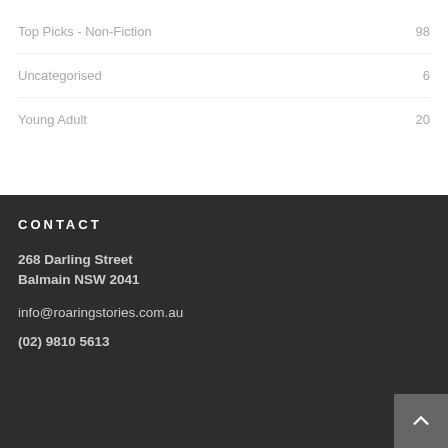Top Picks - Non-Fiction   98
Uncategorised   6
Young Adult   20
CONTACT
268 Darling Street
Balmain NSW 2041
info@roaringstories.com.au
(02) 9810 5613